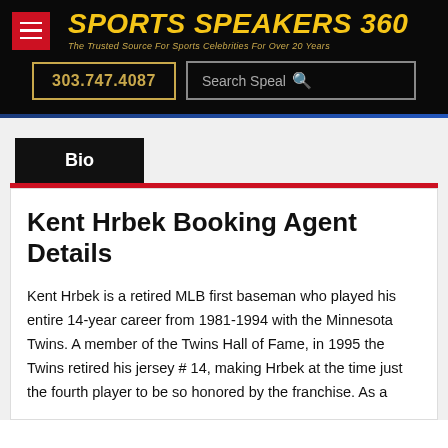SPORTS SPEAKERS 360 — The Trusted Source For Sports Celebrities For Over 20 Years
303.747.4087
Search Speal
Bio
Kent Hrbek Booking Agent Details
Kent Hrbek is a retired MLB first baseman who played his entire 14-year career from 1981-1994 with the Minnesota Twins. A member of the Twins Hall of Fame, in 1995 the Twins retired his jersey # 14, making Hrbek at the time just the fourth player to be so honored by the franchise. As a